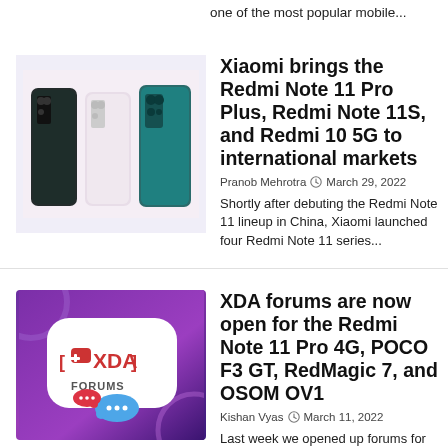one of the most popular mobile...
[Figure (photo): Three Xiaomi Redmi Note 11 smartphones shown from the back in dark green, white/pink, and teal colors]
Xiaomi brings the Redmi Note 11 Pro Plus, Redmi Note 11S, and Redmi 10 5G to international markets
Pranob Mehrotra  March 29, 2022
Shortly after debuting the Redmi Note 11 lineup in China, Xiaomi launched four Redmi Note 11 series...
[Figure (logo): XDA Forums logo on purple/pink gradient background with chat bubble icons]
XDA forums are now open for the Redmi Note 11 Pro 4G, POCO F3 GT, RedMagic 7, and OSOM OV1
Kishan Vyas  March 11, 2022
Last week we opened up forums for the Realme GT 2 series, Moto Edge